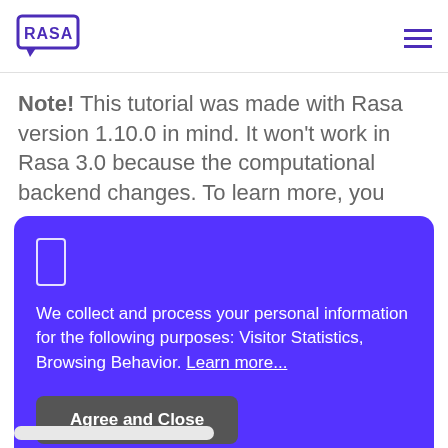RASA
Note! This tutorial was made with Rasa version 1.10.0 in mind. It won't work in Rasa 3.0 because the computational backend changes. To learn more, you
[Figure (screenshot): Purple consent/cookie dialog box with a small rectangle icon, text about collecting personal information for Visitor Statistics and Browsing Behavior with a Learn more link, and an Agree and Close button]
We collect and process your personal information for the following purposes: Visitor Statistics, Browsing Behavior. Learn more...
Agree and Close